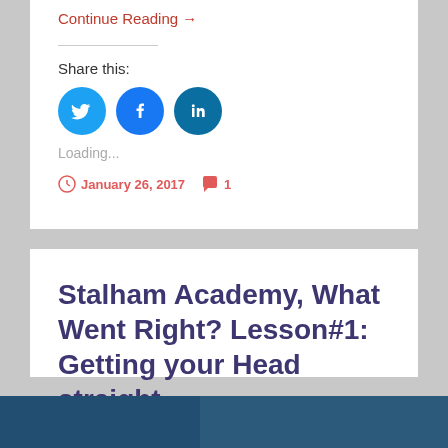Continue Reading →
Share this:
[Figure (illustration): Three social media icon circles: Twitter (light blue), Facebook (blue), LinkedIn (dark blue)]
Loading...
January 26, 2017   1
Stalham Academy, What Went Right? Lesson#1: Getting your Head straight.
[Figure (photo): Partial photo strip at the bottom of the page, dark blue tones]